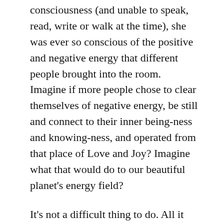consciousness (and unable to speak, read, write or walk at the time), she was ever so conscious of the positive and negative energy that different people brought into the room. Imagine if more people chose to clear themselves of negative energy, be still and connect to their inner being-ness and knowing-ness, and operated from that place of Love and Joy? Imagine what that would do to our beautiful planet's energy field?
It's not a difficult thing to do. All it entails is to be aware of that moment of negativity creeping up, and choose differently. Some may argue that it is easier said than done; however, with practice, diligence, and healthy boundaries, we do come to that place where choosing differently becomes our default setting. Sometimes, a good visual helps us be with what is in that moment (my visual happens to he a big red stop sign in my third eye – with flashing lights around it). If we stay rooted and